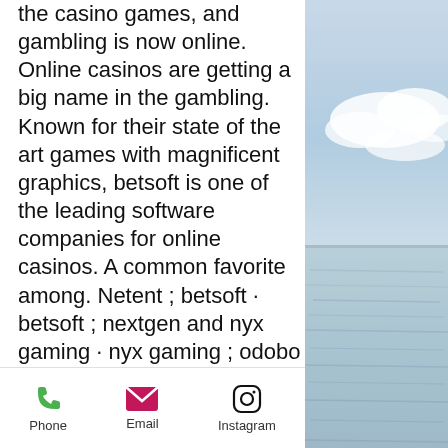the casino games, and gambling is now online. Online casinos are getting a big name in the gambling. Known for their state of the art games with magnificent graphics, betsoft is one of the leading software companies for online casinos. A common favorite among. Netent ; betsoft · betsoft ; nextgen and nyx gaming · nyx gaming ; odobo · odobo ; yggdrasil gaming · yggdrasil. Betsoft gaming · realtime gaming · nucleus gaming · dragon gaming · new online casino games. Form in the late 90s, play'n go has a distinct approach to gaming. Microgaming · play'n go · evolution gaming · big time gaming · netent · igt · novomatic · thunderkick. Online casino software providers bridge the gap between the creative minds making our favourite games and us players enjoying trying them out.
[Figure (photo): Ocean/sea landscape photo with calm blue water and sky with clouds, visible on the right side of the page]
Phone   Email   Instagram